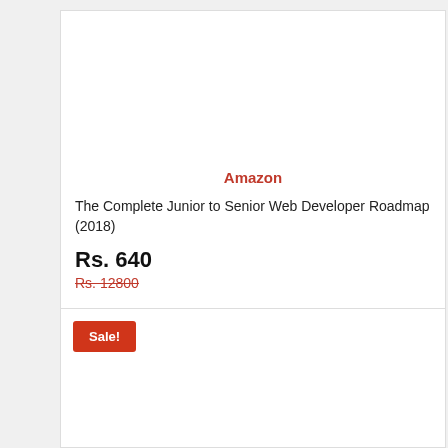Amazon
The Complete Junior to Senior Web Developer Roadmap (2018)
Rs. 640
Rs. 12800
Visit Store
Sale!